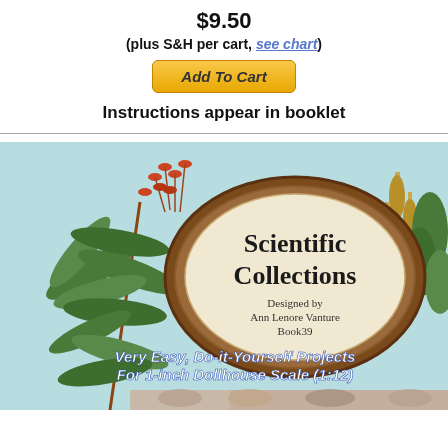$9.50
(plus S&H per cart, see chart)
Add To Cart
Instructions appear in booklet
[Figure (illustration): Book cover for 'Scientific Collections' designed by Ann Lenore Vanture, Book39. Shows botanical illustration with tropical plants, an oval brown frame containing the title text, subtitle 'Very Easy, Do-it-Yourself Projects For 1-inch Dollhouse Scale (1:12)', and inset images of fossil/shell specimens at the bottom.]